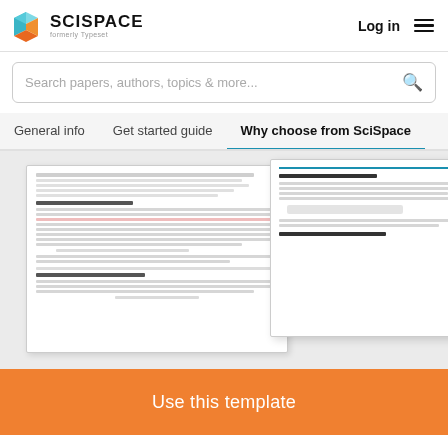[Figure (logo): SciSpace logo with geometric icon, text 'SCISPACE formerly Typeset']
Log in
[Figure (other): Hamburger menu icon]
Search papers, authors, topics & more...
General info
Get started guide
Why choose from SciSpace
[Figure (screenshot): Two overlapping document preview images showing a research paper template with abstract, introduction sections and formulas]
Use this template